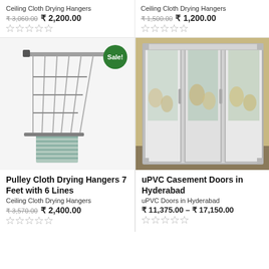Ceiling Cloth Drying Hangers
₹ 3,060.00 ₹ 2,200.00
Ceiling Cloth Drying Hangers
₹ 1,500.00 ₹ 1,200.00
[Figure (photo): Pulley cloth drying hanger with ceiling mount and 6 lines, with a towel hanging, Sale badge shown]
[Figure (photo): uPVC casement doors in Hyderabad showing glass folding doors with room view]
Pulley Cloth Drying Hangers 7 Feet with 6 Lines
uPVC Casement Doors in Hyderabad
Ceiling Cloth Drying Hangers
₹ 3,570.00 ₹ 2,400.00
uPVC Doors in Hyderabad
₹ 11,375.00 – ₹ 17,150.00